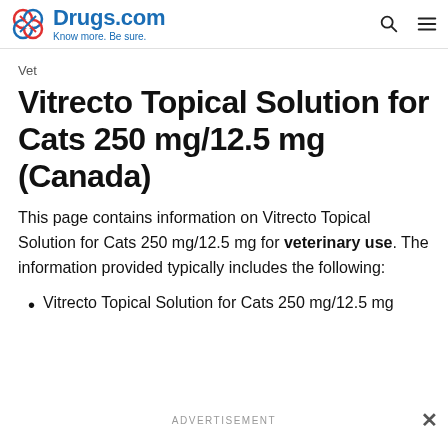Drugs.com — Know more. Be sure.
Vet
Vitrecto Topical Solution for Cats 250 mg/12.5 mg (Canada)
This page contains information on Vitrecto Topical Solution for Cats 250 mg/12.5 mg for veterinary use. The information provided typically includes the following:
Vitrecto Topical Solution for Cats 250 mg/12.5 mg Indications
ADVERTISEMENT